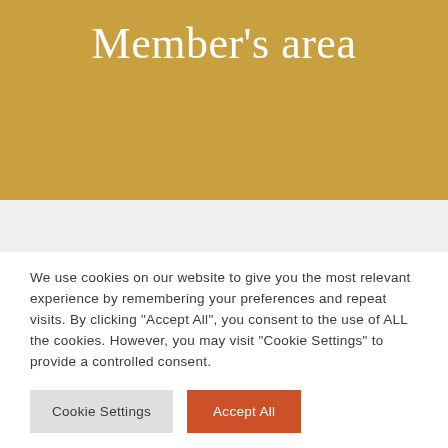Member's area
We use cookies on our website to give you the most relevant experience by remembering your preferences and repeat visits. By clicking "Accept All", you consent to the use of ALL the cookies. However, you may visit "Cookie Settings" to provide a controlled consent.
Cookie Settings
Accept All